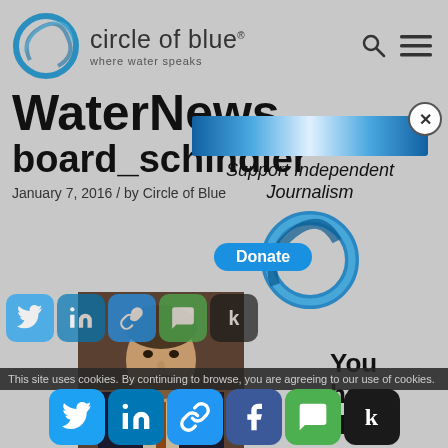circle of blue — where water speaks
WaterNews
board_schindler
January 7, 2016 / by Circle of Blue
[Figure (photo): Headshot of a man in a dark suit with a beard]
[Figure (infographic): Support Independent Journalism donate overlay with Circle of Blue logo and Donate button]
You have the power to inform
This site uses cookies. By continuing to browse, you are agreeing to our use of cookies.